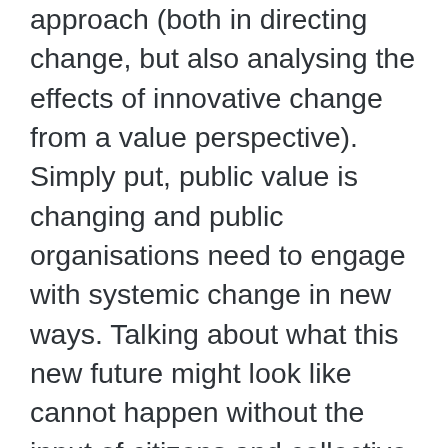approach (both in directing change, but also analysing the effects of innovative change from a value perspective). Simply put, public value is changing and public organisations need to engage with systemic change in new ways. Talking about what this new future might look like cannot happen without the input of citizens and collective understanding of what is valued. Consequently, civic engagement, future and public value seem to be crucial at this stage of transformation not only in